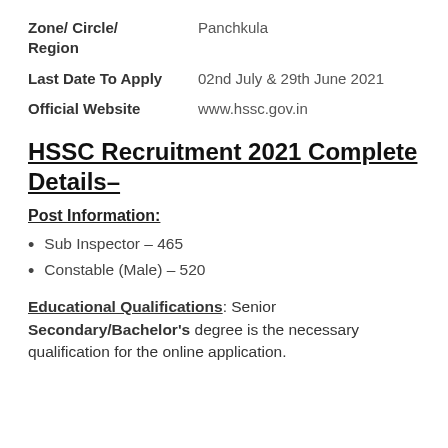Zone/ Circle/ Region    Panchkula
Last Date To Apply    02nd July & 29th June 2021
Official Website    www.hssc.gov.in
HSSC Recruitment 2021 Complete Details–
Post Information:
Sub Inspector – 465
Constable (Male) – 520
Educational Qualifications: Senior Secondary/Bachelor's degree is the necessary qualification for the online application.